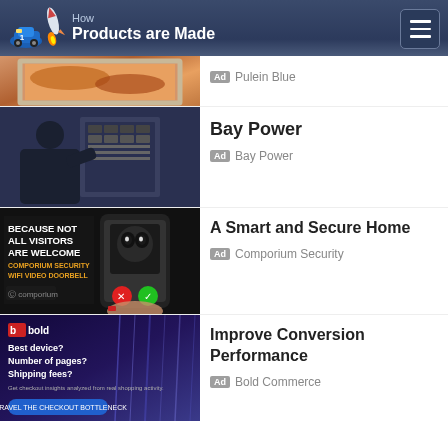How Products are Made
[Figure (screenshot): Partial thumbnail of a painting/photo showing orange cloudy sky]
Ad Pulein Blue
[Figure (screenshot): Thumbnail of a person working on electrical panel - Bay Power ad]
Bay Power
Ad Bay Power
[Figure (screenshot): Smart home security ad with phone showing doorbell camera - Because not all visitors are welcome, Comporium Security WiFi Video Doorbell]
A Smart and Secure Home
Ad Comporium Security
[Figure (screenshot): Bold Commerce ad - Best device? Number of pages? Shipping fees? Get checkout insights analyzed from real shopping activity.]
Improve Conversion Performance
Ad Bold Commerce